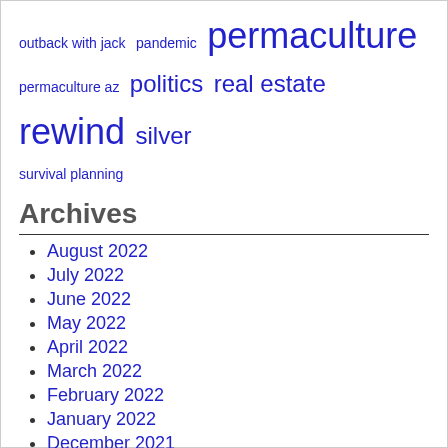outback with jack  pandemic  permaculture  permaculture az  politics  real estate  rewind  silver  survival planning
Archives
August 2022
July 2022
June 2022
May 2022
April 2022
March 2022
February 2022
January 2022
December 2021
November 2021
October 2021
September 2021
August 2021
July 2021
June 2021
May 2021